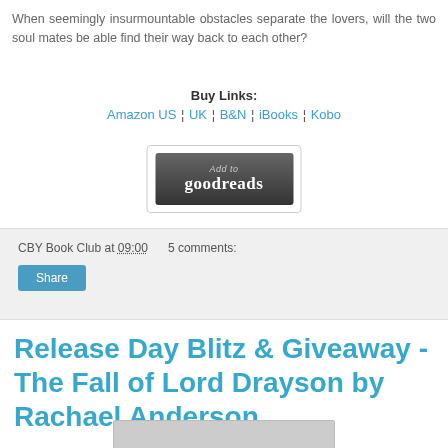When seemingly insurmountable obstacles separate the lovers, will the two soul mates be able find their way back to each other?
Buy Links:
Amazon US ¦ UK ¦ B&N ¦ iBooks ¦ Kobo
[Figure (other): Add to Goodreads button — dark gradient rectangle with 'Add to goodreads' text in white]
CBY Book Club at 09:00   5 comments:
Share
Release Day Blitz & Giveaway - The Fall of Lord Drayson by Rachael Anderson
[Figure (other): Partial image visible at bottom of page]